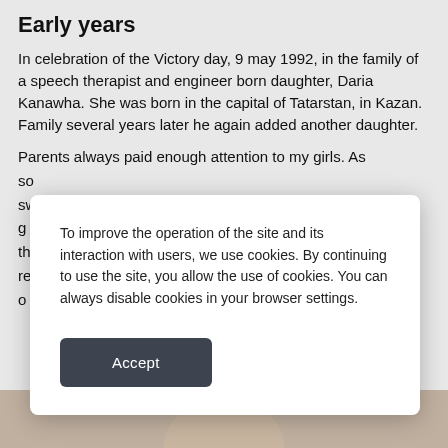Early years
In celebration of the Victory day, 9 may 1992, in the family of a speech therapist and engineer born daughter, Daria Kanawha. She was born in the capital of Tatarstan, in Kazan. Family several years later he again added another daughter.
Parents always paid enough attention to my girls. As so sw g th re o
To improve the operation of the site and its interaction with users, we use cookies. By continuing to use the site, you allow the use of cookies. You can always disable cookies in your browser settings.
Accept
[Figure (photo): Bottom of page showing top of a person's head, partially visible photo strip]